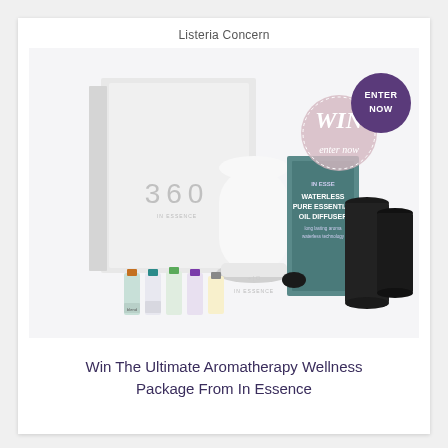Listeria Concern
[Figure (photo): Product photo showing an In Essence aromatherapy wellness package including a white 360 diffuser with box, a waterless pure essential oil diffuser in dark/black color, multiple small essential oil bottles in various colors, and a 'WIN - enter now' circle graphic with a purple 'ENTER NOW' badge overlay]
Win The Ultimate Aromatherapy Wellness Package From In Essence